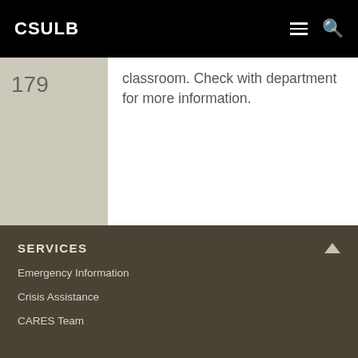CSULB
179
classroom. Check with department for more information.
SERVICES
Emergency Information
Crisis Assistance
CARES Team